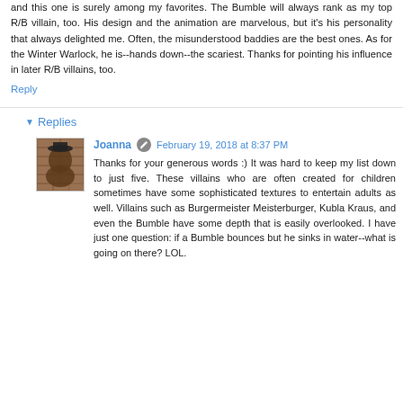and this one is surely among my favorites. The Bumble will always rank as my top R/B villain, too. His design and the animation are marvelous, but it's his personality that always delighted me. Often, the misunderstood baddies are the best ones. As for the Winter Warlock, he is--hands down--the scariest. Thanks for pointing his influence in later R/B villains, too.
Reply
Replies
Joanna
February 19, 2018 at 8:37 PM
Thanks for your generous words :) It was hard to keep my list down to just five. These villains who are often created for children sometimes have some sophisticated textures to entertain adults as well. Villains such as Burgermeister Meisterburger, Kubla Kraus, and even the Bumble have some depth that is easily overlooked. I have just one question: if a Bumble bounces but he sinks in water--what is going on there? LOL.